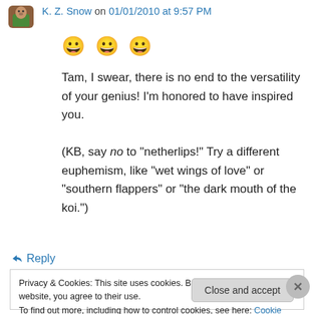K. Z. Snow on 01/01/2010 at 9:57 PM
[Figure (illustration): Three grinning smiley face emojis]
Tam, I swear, there is no end to the versatility of your genius! I'm honored to have inspired you.

(KB, say no to “netherlips!” Try a different euphemism, like “wet wings of love” or “southern flappers” or “the dark mouth of the koi.”)
↳ Reply
Privacy & Cookies: This site uses cookies. By continuing to use this website, you agree to their use.
To find out more, including how to control cookies, see here: Cookie Policy
Close and accept